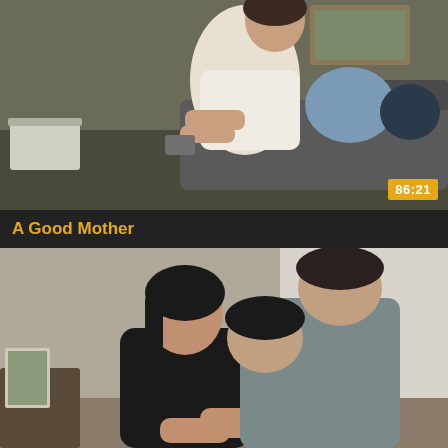[Figure (photo): Video thumbnail showing a middle-aged Asian woman in a white shirt sitting on a couch in a living room, with a duration badge showing 86:21]
A Good Mother
[Figure (photo): Video thumbnail showing two people, a woman in a black top and a man in a gray shirt, in an indoor scene]